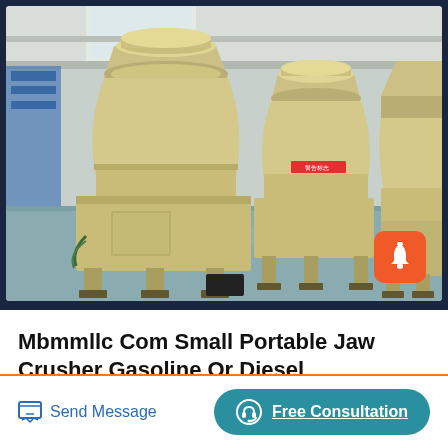[Figure (photo): Industrial manufacturing facility showing multiple large cone crushers or similar heavy mining equipment in beige/cream color, arranged in a factory floor with grey/blue-green polished concrete floor and high ceiling with skylights.]
Mbmmllc Com Small Portable Jaw Crusher Gasoline Or Diesel
Portable Small Jaw Rock Crusher. Mbmmllc small